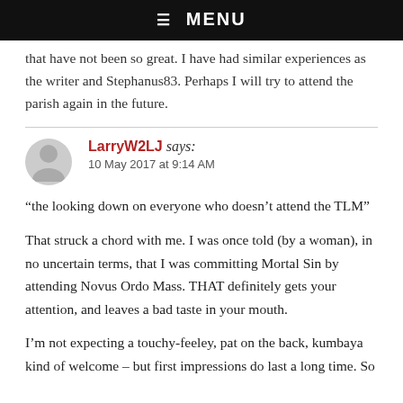☰ MENU
that have not been so great. I have had similar experiences as the writer and Stephanus83. Perhaps I will try to attend the parish again in the future.
LarryW2LJ says: 10 May 2017 at 9:14 AM
“the looking down on everyone who doesn’t attend the TLM”
That struck a chord with me. I was once told (by a woman), in no uncertain terms, that I was committing Mortal Sin by attending Novus Ordo Mass. THAT definitely gets your attention, and leaves a bad taste in your mouth.
I’m not expecting a touchy-feeley, pat on the back, kumbaya kind of welcome – but first impressions do last a long time. So